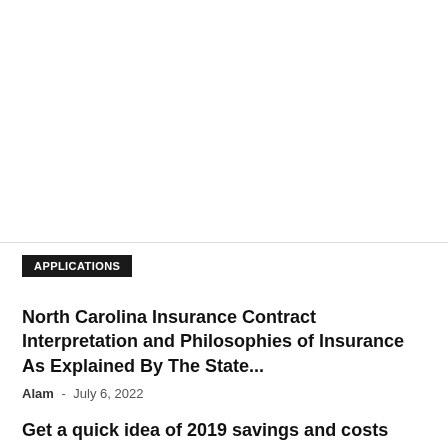APPLICATIONS
North Carolina Insurance Contract Interpretation and Philosophies of Insurance As Explained By The State...
Alam  -  July 6, 2022
Get a quick idea of 2019 savings and costs
Alam  -  November 7, 2018